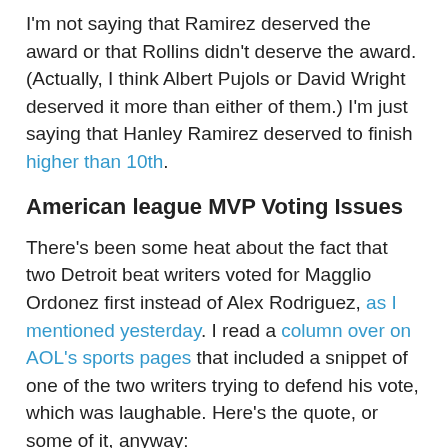I'm not saying that Ramirez deserved the award or that Rollins didn't deserve the award. (Actually, I think Albert Pujols or David Wright deserved it more than either of them.) I'm just saying that Hanley Ramirez deserved to finish higher than 10th.
American league MVP Voting Issues
There's been some heat about the fact that two Detroit beat writers voted for Magglio Ordonez first instead of Alex Rodriguez, as I mentioned yesterday. I read a column over on AOL's sports pages that included a snippet of one of the two writers trying to defend his vote, which was laughable. Here's the quote, or some of it, anyway:
"I saw Magglio play every day. What I saw was a player having an MVP year. I have no quarrel with anyone who voted for A-Rod. He also had an MVP year. But with the injuries the Tigers had